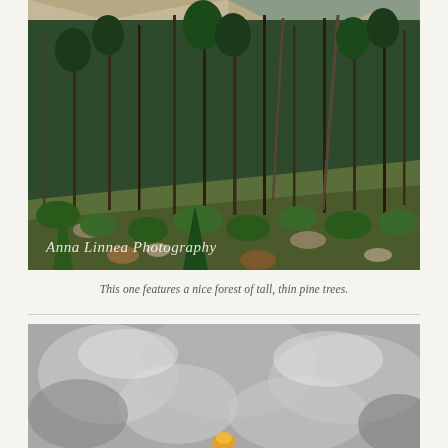[Figure (photo): A forest of tall, thin pine trees on a hillside with rocky mountain terrain in the background. Green undergrowth and boulders in the foreground. Watermark reads 'Anna Linnea Photography'.]
This one features a nice forest of tall, thin pine trees.
[Figure (photo): A partially visible black and white photo with a yellow flower or object visible at the bottom center.]